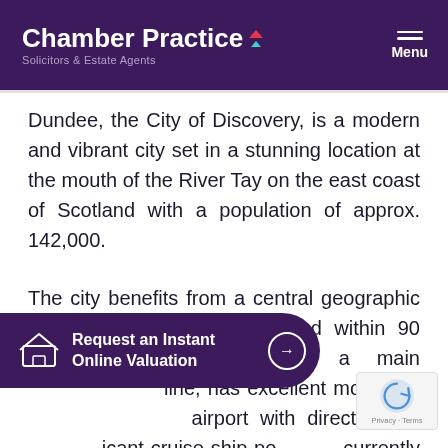Chamber Practice — Solicitors & Estate Agents
Dundee, the City of Discovery, is a modern and vibrant city set in a stunning location at the mouth of the River Tay on the east coast of Scotland with a population of approx. 142,000.
The city benefits from a central geographic location, with 90% of Scotland within 90 minutes drive. Dundee is a main …line, has excellent motorway …airport with direct flights …icant cruise ship po… currently undergoing a multimillion pound regene… its waterfront connecting the city centre to the R…